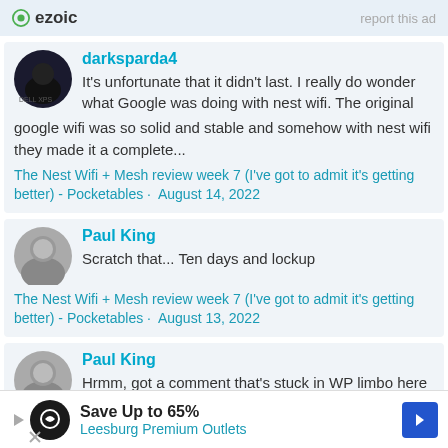[Figure (logo): Ezoic logo with 'report this ad' text on right]
darksparda4
It's unfortunate that it didn't last. I really do wonder what Google was doing with nest wifi. The original google wifi was so solid and stable and somehow with nest wifi they made it a complete...
The Nest Wifi + Mesh review week 7 (I've got to admit it's getting better) - Pocketables · August 14, 2022
Paul King
Scratch that... Ten days and lockup
The Nest Wifi + Mesh review week 7 (I've got to admit it's getting better) - Pocketables · August 13, 2022
Paul King
Hrmm, got a comment that's stuck in WP limbo here -
[Figure (infographic): Bottom advertisement: Save Up to 65% - Leesburg Premium Outlets]